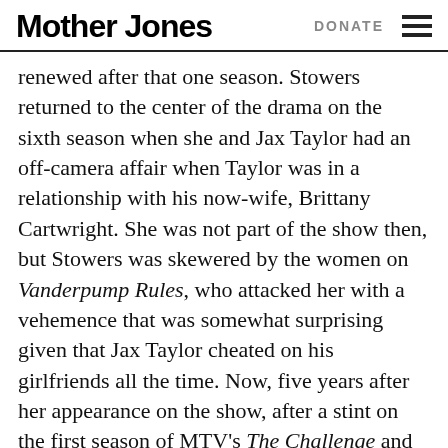Mother Jones    DONATE
renewed after that one season. Stowers returned to the center of the drama on the sixth season when she and Jax Taylor had an off-camera affair when Taylor was in a relationship with his now-wife, Brittany Cartwright. She was not part of the show then, but Stowers was skewered by the women on Vanderpump Rules, who attacked her with a vehemence that was somewhat surprising given that Jax Taylor cheated on his girlfriends all the time. Now, five years after her appearance on the show, after a stint on the first season of MTV's The Challenge and Ex on the Beach, Stowers was interviewed by Floribama star Candace Rice on Instagram Live. In response to a question from a